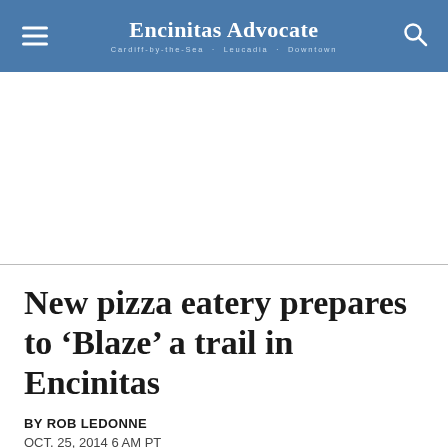Encinitas Advocate
[Figure (other): Advertisement placeholder area (white space)]
New pizza eatery prepares to ‘Blaze’ a trail in Encinitas
BY ROB LEDONNE
OCT. 25, 2014 6 AM PT
[Figure (other): Social share buttons: Facebook, Twitter, and forward/share icon]